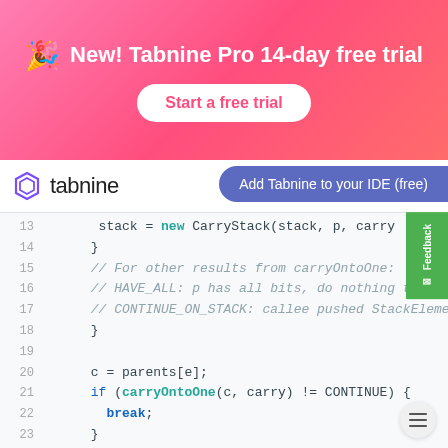[Figure (infographic): Pink/red gradient banner with party popper emoji, text 'New! Tabnine Pro 14-day free trial' in white, and a 'Start a free trial' button with white background and pink text]
[Figure (logo): Tabnine logo with hexagon icon and 'tabnine' wordmark in dark gray]
Add Tabnine to your IDE (free)
Feedback
[Figure (screenshot): Code editor screenshot showing Java/Kotlin code with line numbers 13-25, including stack = new CarryStack(stack, p, carry), closing braces, comments about carryOntoOne results (HAVE_ALL, CONTINUE_ON_STACK), c = parents[e], if (carryOntoOne(c, carry) != CONTINUE) { break; } closing braces]